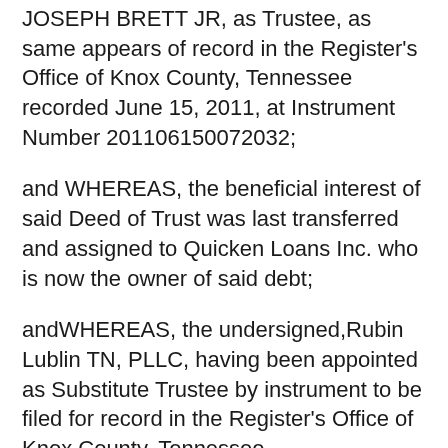JOSEPH BRETT JR, as Trustee, as same appears of record in the Register's Office of Knox County, Tennessee recorded June 15, 2011, at Instrument Number 201106150072032;
and WHEREAS, the beneficial interest of said Deed of Trust was last transferred and assigned to Quicken Loans Inc. who is now the owner of said debt;
andWHEREAS, the undersigned,Rubin Lublin TN, PLLC, having been appointed as Substitute Trustee by instrument to be filed for record in the Register's Office of Knox County, Tennessee.
NOW, THEREFORE, notice is hereby given that the entire indebtedness has been declared due and payable, and that the undersigned, Rubin Lublin TN, PLLC, as Substitute Trustee or his duly appointed agent, by virtue of the power